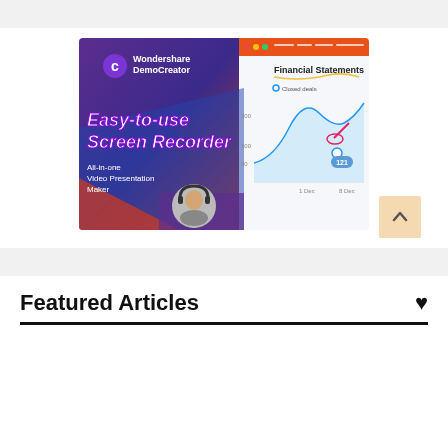[Figure (screenshot): Wondershare DemoCreator advertisement showing 'Easy-to-use Screen Recorder' and 'All-in-one Video Presentation Maker' with a financial chart on the right side and a person wearing headphones at the bottom.]
Featured Articles